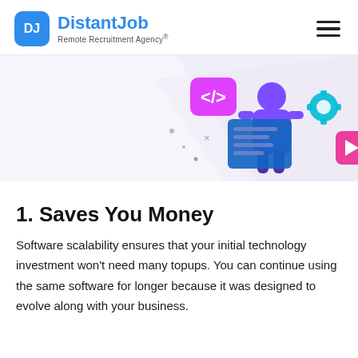DistantJob Remote Recruitment Agency®
[Figure (illustration): Illustration of a developer/tech worker figure with coding-related icons including a code tag symbol, blue screen with text lines, a gear/settings icon, and a pink play button. Colors are purple, blue, and pink tones on a light background.]
1. Saves You Money
Software scalability ensures that your initial technology investment won't need many topups. You can continue using the same software for longer because it was designed to evolve along with your business.